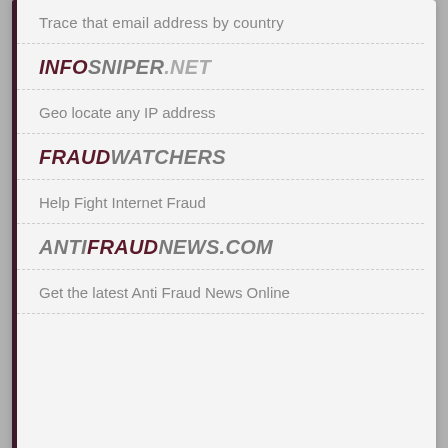Trace that email address by country
INFOSNIPER.NET
Geo locate any IP address
FRAUDWATCHERS
Help Fight Internet Fraud
ANTIFRAUDNEWS.COM
Get the latest Anti Fraud News Online
Powered by phpBB | Responsive theme by SiteSplat | Website Design Company
Wayfair.com - Online Home Store Sale! Shop for A Zillion Things Home across all styles at Wayfair! www.wayfair.com